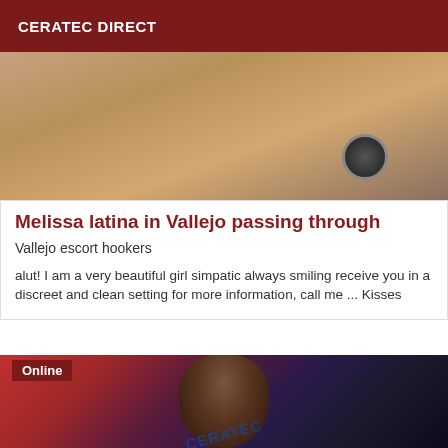CERATEC DIRECT
[Figure (photo): Partial photo of a person, cropped at the top of the page, showing a background with warm tones and what appears to be a fan or round object]
Melissa latina in Vallejo passing through
Vallejo escort hookers
alut! I am a very beautiful girl simpatic always smiling receive you in a discreet and clean setting for more information, call me ... Kisses
[Figure (photo): Photo of a young Black woman with long dark hair, wearing a red top, posing in a room. A blue watermark text is overlaid on the lower portion of the image. An 'Online' badge is shown in the upper-left corner of the image.]